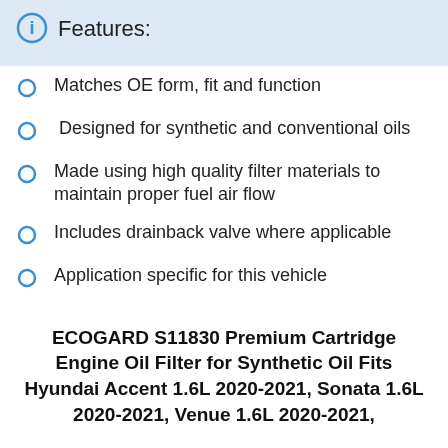Features:
Matches OE form, fit and function
Designed for synthetic and conventional oils
Made using high quality filter materials to maintain proper fuel air flow
Includes drainback valve where applicable
Application specific for this vehicle
ECOGARD S11830 Premium Cartridge Engine Oil Filter for Synthetic Oil Fits Hyundai Accent 1.6L 2020-2021, Sonata 1.6L 2020-2021, Venue 1.6L 2020-2021,